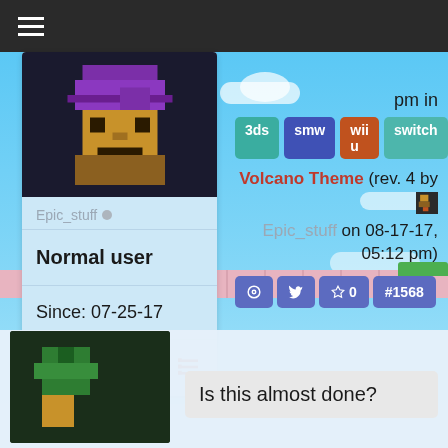☰ (hamburger menu)
[Figure (screenshot): Pixel art avatar of a character with purple hat and brown body on dark background]
Epic_stuff ● (online indicator)
Normal user
Since: 07-25-17
pm in
3ds  smw  wii u  switch
Volcano Theme (rev. 4 by [avatar] Epic_stuff on 08-17-17, 05:12 pm)
🔗  🐦  ☆ 0  #1568
[Figure (screenshot): Pixel art character with green and tan colors on dark background, bottom comment area]
Is this almost done?